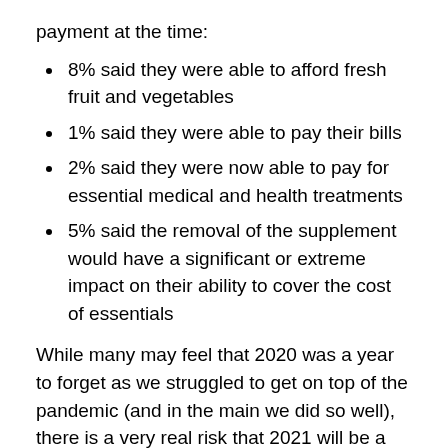payment at the time:
8% said they were able to afford fresh fruit and vegetables
1% said they were able to pay their bills
2% said they were now able to pay for essential medical and health treatments
5% said the removal of the supplement would have a significant or extreme impact on their ability to cover the cost of essentials
While many may feel that 2020 was a year to forget as we struggled to get on top of the pandemic (and in the main we did so well), there is a very real risk that 2021 will be a year not so much where the economy is sick, but where the health of the nation takes a turn for the worse. We simply can't afford to undo all of the good